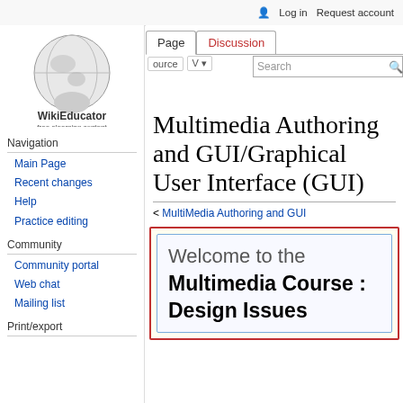Log in  Request account
[Figure (logo): WikiEducator globe logo with hand holding globe, text 'WikiEducator free elearning content']
Navigation
Main Page
Recent changes
Help
Practice editing
Community
Community portal
Web chat
Mailing list
Print/export
Multimedia Authoring and GUI/Graphical User Interface (GUI)
< MultiMedia Authoring and GUI
Welcome to the Multimedia Course : Design Issues